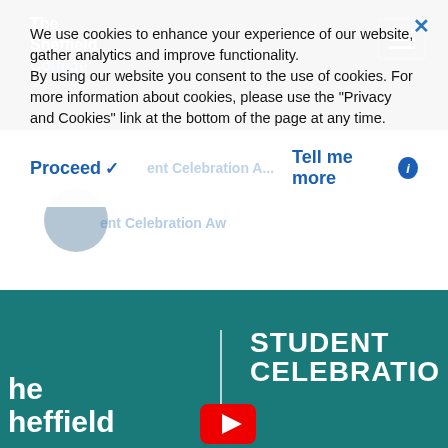The Sheffield College
We use cookies to enhance your experience of our website, gather analytics and improve functionality.
By using our website you consent to the use of cookies. For more information about cookies, please use the "Privacy and Cookies" link at the bottom of the page at any time.
Proceed ✓     Student Celebration A...     Tell me more ℹ
[Figure (screenshot): Teal-colored banner showing 'The Sheffield' logo on the left, a vertical white divider, a YouTube play button icon in the center, and bold white text 'STUDENT CELEBRATIO' on the right — a student celebration awards video thumbnail.]